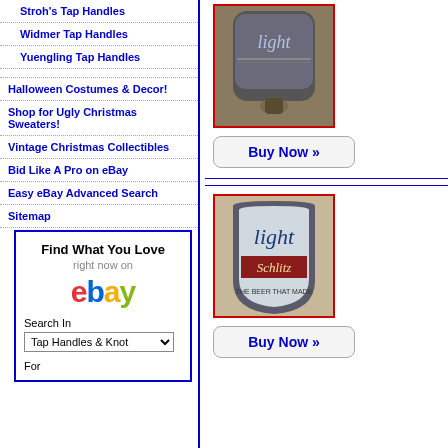Stroh's Tap Handles
Widmer Tap Handles
Yuengling Tap Handles
Halloween Costumes & Decor!
Shop for Ugly Christmas Sweaters!
Vintage Christmas Collectibles
Bid Like A Pro on eBay
Easy eBay Advanced Search
Sitemap
[Figure (screenshot): eBay search widget with 'Find What You Love right now on ebay' logo, Search In dropdown for 'Tap Handles & Knot', and 'For' label]
[Figure (photo): Beer tap handle showing 'Light' branding, top portion with dark cap, product shown with Buy Now button]
[Figure (photo): Schlitz Light beer tap handle, shield-shaped with 'light Schlitz' text, shown with Buy Now button]